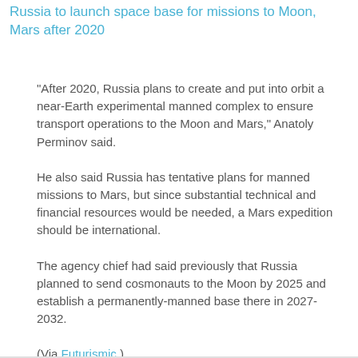Russia to launch space base for missions to Moon, Mars after 2020
"After 2020, Russia plans to create and put into orbit a near-Earth experimental manned complex to ensure transport operations to the Moon and Mars," Anatoly Perminov said.
He also said Russia has tentative plans for manned missions to Mars, but since substantial technical and financial resources would be needed, a Mars expedition should be international.
The agency chief had said previously that Russia planned to send cosmonauts to the Moon by 2025 and establish a permanently-manned base there in 2027-2032.
(Via Futurismic.)